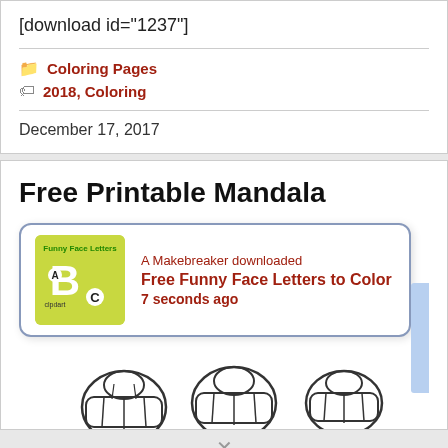[download id="1237"]
Coloring Pages
2018, Coloring
December 17, 2017
Free Printable Mandala
[Figure (screenshot): Popup notification box showing a thumbnail image of 'Funny Face Letters' coloring page with text: 'A Makebreaker downloaded Free Funny Face Letters to Color 7 seconds ago']
[Figure (illustration): Partial illustration showing cartoon fist/hand drawings at the bottom of the page]